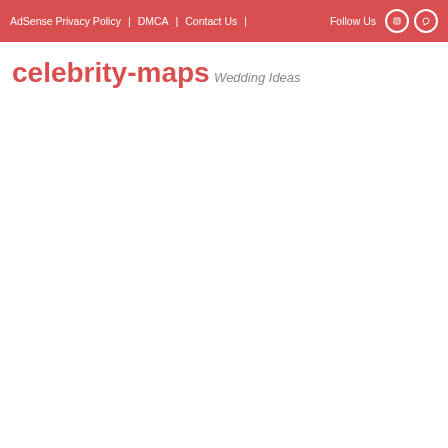AdSense Privacy Policy | DMCA | Contact Us | Follow Us
celebrity-maps
Wedding Ideas